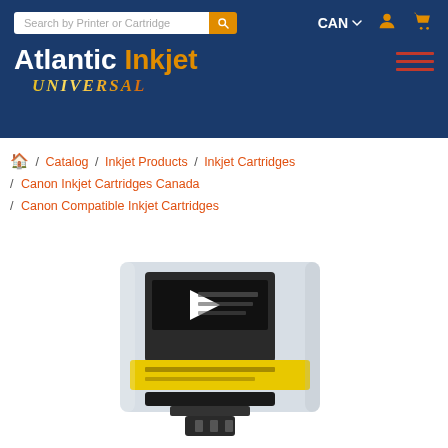[Figure (screenshot): Website header for Atlantic Inkjet Universal with search bar, CAN dropdown, user and cart icons, logo, and hamburger menu on dark blue background]
🏠 / Catalog / Inkjet Products / Inkjet Cartridges / Canon Inkjet Cartridges Canada / Canon Compatible Inkjet Cartridges
[Figure (photo): Canon compatible black inkjet cartridge with yellow pull tab, translucent plastic case, black ink chamber visible]